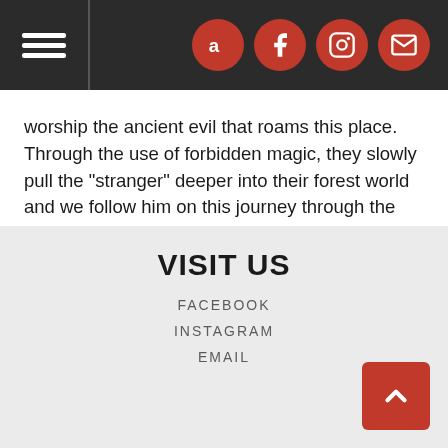Navigation header with hamburger menu and social icons (Amazon, Facebook, Instagram, Email)
worship the ancient evil that roams this place. Through the use of forbidden magic, they slowly pull the "stranger" deeper into their forest world and we follow him on this journey through the woods, caverns, fields, and groves of this mysterious land. The Old King is the ruler of this land. Not a physical manifestation, but a symbol for the attraction of the mysterious and the dark. A place where the new comes to die, and the old tends to thrive. If you are lost, fall back on what is old and familiar, to find that new energy in places you have not visited in a while or never visited at all.
VISIT US
FACEBOOK
INSTAGRAM
EMAIL